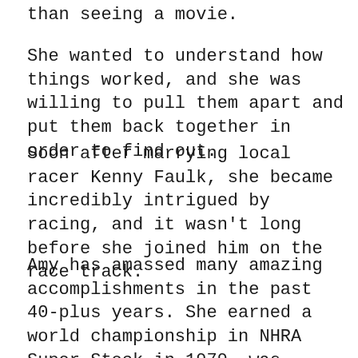than seeing a movie.
She wanted to understand how things worked, and she was willing to pull them apart and put them back together in order to find out.
Soon after marrying local racer Kenny Faulk, she became incredibly intrigued by racing, and it wasn't long before she joined him on the race track.
Amy has amassed many amazing accomplishments in the past 40-plus years. She earned a world championship in NHRA Super Stock in 1979, was entered into the NHRA Division 2 Hall of Fame after being nominated by legendary racer Don Garlits and served on the SEMA Board of Directors, just to